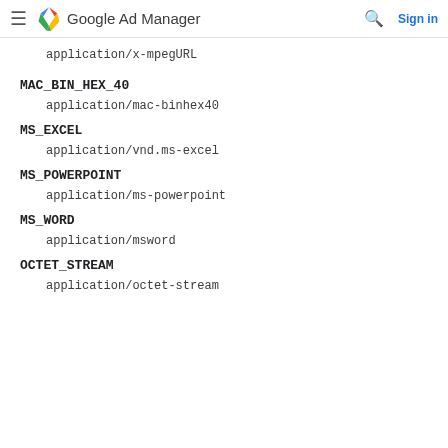Google Ad Manager
application/x-mpegURL
MAC_BIN_HEX_40
application/mac-binhex40
MS_EXCEL
application/vnd.ms-excel
MS_POWERPOINT
application/ms-powerpoint
MS_WORD
application/msword
OCTET_STREAM
application/octet-stream